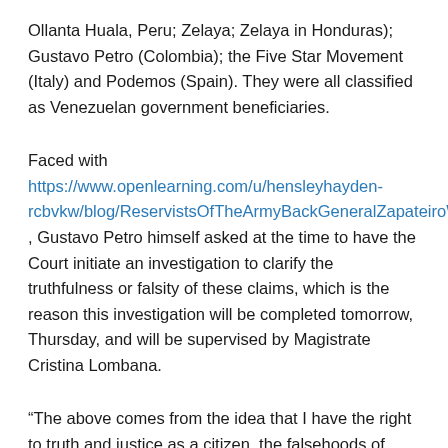Ollanta Huala, Peru; Zelaya; Zelaya in Honduras); Gustavo Petro (Colombia); the Five Star Movement (Italy) and Podemos (Spain). They were all classified as Venezuelan government beneficiaries.
Faced with https://www.openlearning.com/u/hensleyhayden-rcbvkw/blog/ReservistsOfTheArmyBackGeneralZapateiroWhileCriticizingGustavoPetro , Gustavo Petro himself asked at the time to have the Court initiate an investigation to clarify the truthfulness or falsity of these claims, which is the reason this investigation will be completed tomorrow, Thursday, and will be supervised by Magistrate Cristina Lombana.
“The above comes from the idea that I have the right to truth and justice as a citizen. the falsehoods of these statements could jeopardize my reputation and honor,” Petro said at the time.